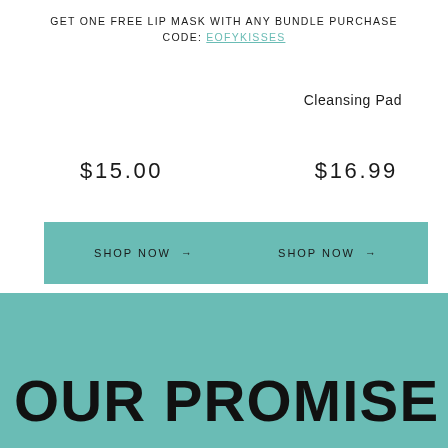GET ONE FREE LIP MASK WITH ANY BUNDLE PURCHASE CODE: EOFYKISSES
Cleansing Pad
$15.00
$16.99
SHOP NOW →
SHOP NOW →
SEE ALL →
OUR PROMISE